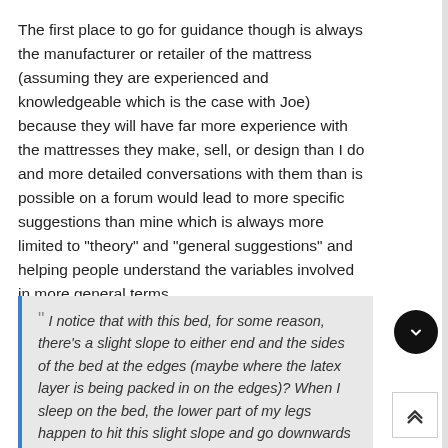The first place to go for guidance though is always the manufacturer or retailer of the mattress (assuming they are experienced and knowledgeable which is the case with Joe) because they will have far more experience with the mattresses they make, sell, or design than I do and more detailed conversations with them than is possible on a forum would lead to more specific suggestions than mine which is always more limited to "theory" and "general suggestions" and helping people understand the variables involved in more general terms.
I notice that with this bed, for some reason, there's a slight slope to either end and the sides of the bed at the edges (maybe where the latex layer is being packed in on the edges)? When I sleep on the bed, the lower part of my legs happen to hit this slight slope and go downwards - I wonder if this is causing my lumbar not